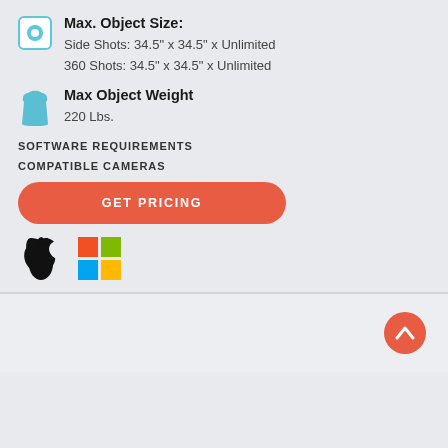Max. Object Size:
Side Shots: 34.5" x 34.5" x Unlimited
360 Shots: 34.5" x 34.5" x Unlimited
Max Object Weight
220 Lbs.
SOFTWARE REQUIREMENTS
COMPATIBLE CAMERAS
GET PRICING
[Figure (logo): Apple logo (black) and Windows logo (colored squares) side by side]
Back to top arrow button